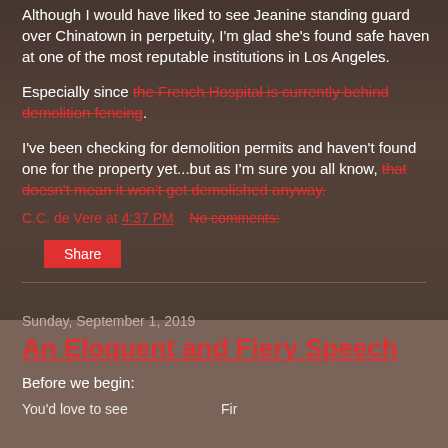Although I would have liked to see Jeanine standing guard over Chinatown in perpetuity, I'm glad she's found safe haven at one of the most reputable institutions in Los Angeles.
Especially since the French Hospital is currently behind demolition fencing.
I've been checking for demolition permits and haven't found one for the property yet...but as I'm sure you all know, that doesn't mean it won't get demolished anyway.
C.C. de Vere at 4:37 PM    No comments:
Share
Sunday, September 1, 2019
An Eloquent and Fiery Speech
Before we begin:
You'd love to see...